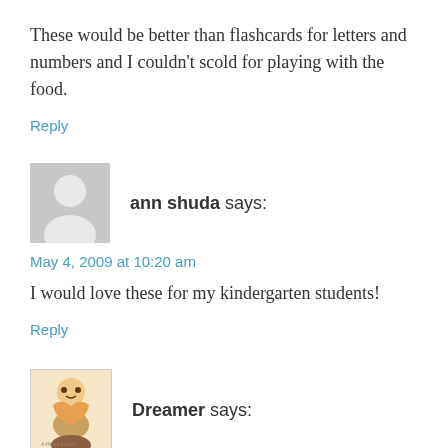These would be better than flashcards for letters and numbers and I couldn't scold for playing with the food.
Reply
ann shuda says:
May 4, 2009 at 10:20 am
I would love these for my kindergarten students!
Reply
Dreamer says:
May 4, 2009 at 10:15 am